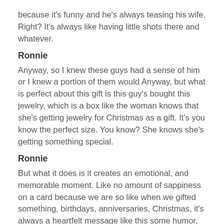because it's funny and he's always teasing his wife. Right? It's always like having little shots there and whatever.
Ronnie
Anyway, so I knew these guys had a sense of him or I knew a portion of them would Anyway, but what is perfect about this gift is this guy's bought this jewelry, which is a box like the woman knows that she's getting jewelry for Christmas as a gift. It's you know the perfect size. You know? She knows she's getting something special.
Ronnie
But what it does is it creates an emotional, and memorable moment. Like no amount of sappiness on a card because we are so like when we gifted something, birthdays, anniversaries, Christmas, it's always a heartfelt message like this some humor, like you do see those funny cards. But now often with little that left the